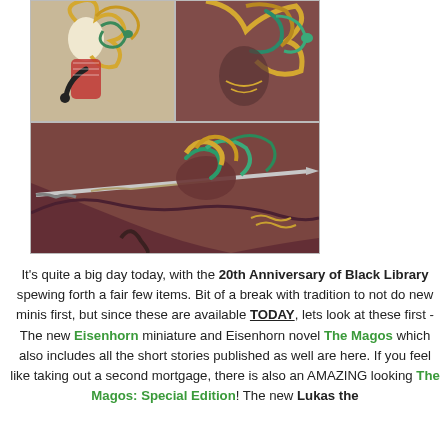[Figure (photo): Top-left photo: Fantasy miniature figure with elaborate hair and serpents, holding a weapon, painted in cream/gold/green colors]
[Figure (photo): Top-right photo: Close-up of fantasy miniature figure with golden swirling hair and teal serpents on a dark red/purple background]
[Figure (photo): Bottom photo: Full view of fantasy miniature figure with teal serpents, wielding a long spear/lance, on a dark red/purple dragon or creature base]
It's quite a big day today, with the 20th Anniversary of Black Library spewing forth a fair few items. Bit of a break with tradition to not do new minis first, but since these are available TODAY, lets look at these first - The new Eisenhorn miniature and Eisenhorn novel The Magos which also includes all the short stories published as well are here. If you feel like taking out a second mortgage, there is also an AMAZING looking The Magos: Special Edition! The new Lukas the